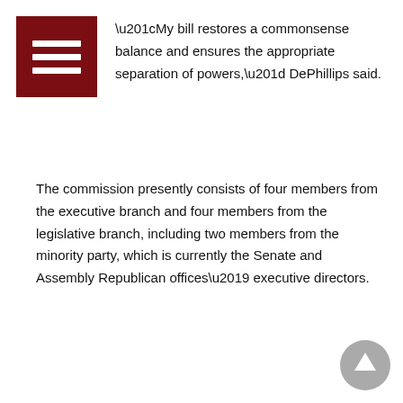“My bill restores a commonsense balance and ensures the appropriate separation of powers,” DePhillips said.
The commission presently consists of four members from the executive branch and four members from the legislative branch, including two members from the minority party, which is currently the Senate and Assembly Republican offices’ executive directors.
Christopher DePhillips, Covid, democracy, executive branch, State Capitol Joint Management Commission, Statehouse
News